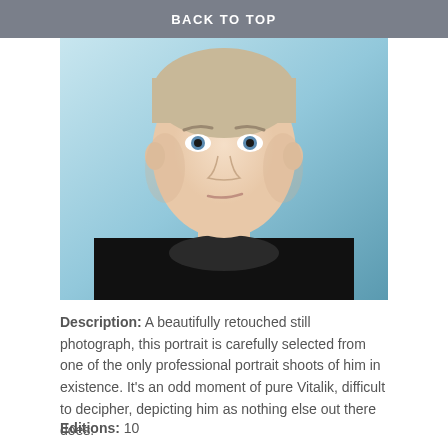BACK TO TOP
[Figure (photo): Professional portrait photograph of a young man with light hair and blue eyes, wearing a dark/black crew-neck t-shirt, against a light blue background. Expression is subtle with a slight smirk.]
Description: A beautifully retouched still photograph, this portrait is carefully selected from one of the only professional portrait shoots of him in existence. It's an odd moment of pure Vitalik, difficult to decipher, depicting him as nothing else out there does.
Editions: 10